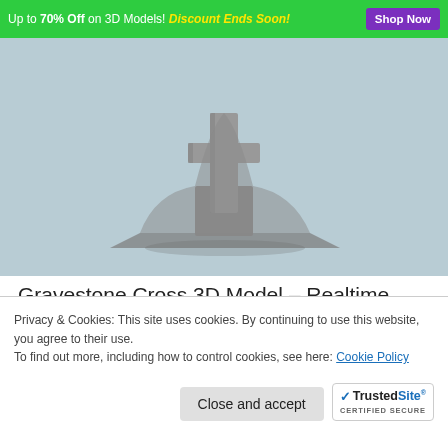Up to 70% Off on 3D Models! Discount Ends Soon! Shop Now
[Figure (photo): 3D model of a gravestone cross rendered on a light blue-grey background, showing a stone cross on a textured base platform viewed at an angle.]
Gravestone Cross 3D Model – Realtime
Gravestone Cross 3D Model, very detailed ".3DS" ".MAX" .FBX" ".OBJ" files, for games, architectural renderings and animations. Works with: 1. Maya 2. 3ds Max 3. C4D 4. Unreal Engine 5.
Privacy & Cookies: This site uses cookies. By continuing to use this website, you agree to their use.
To find out more, including how to control cookies, see here: Cookie Policy
Close and accept
[Figure (logo): TrustedSite CERTIFIED SECURE badge with blue checkmark]